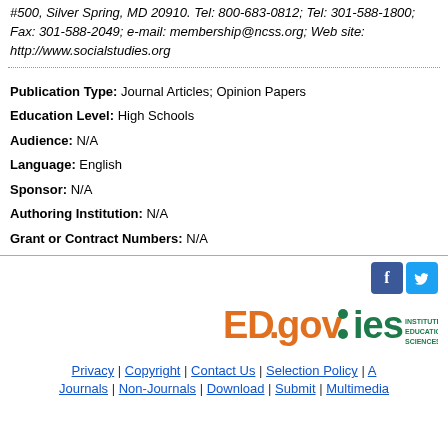#500, Silver Spring, MD 20910. Tel: 800-683-0812; Tel: 301-588-1800; Fax: 301-588-2049; e-mail: membership@ncss.org; Web site: http://www.socialstudies.org
Publication Type: Journal Articles; Opinion Papers
Education Level: High Schools
Audience: N/A
Language: English
Sponsor: N/A
Authoring Institution: N/A
Grant or Contract Numbers: N/A
[Figure (logo): ED.gov IES Institute of Education Sciences logo with social media icons (Facebook and Twitter)]
Privacy | Copyright | Contact Us | Selection Policy | A | Journals | Non-Journals | Download | Submit | Multimedia